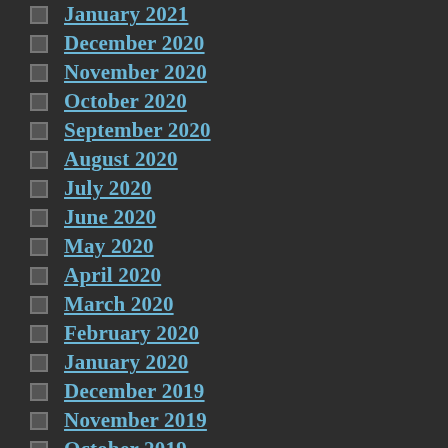January 2021
December 2020
November 2020
October 2020
September 2020
August 2020
July 2020
June 2020
May 2020
April 2020
March 2020
February 2020
January 2020
December 2019
November 2019
October 2019
September 2019
August 2019
June 2019